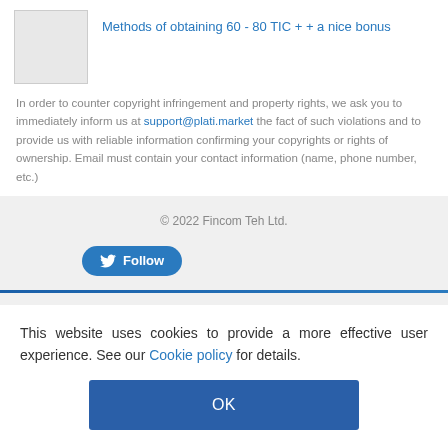[Figure (illustration): Gray placeholder image thumbnail]
Methods of obtaining 60 - 80 TIC + + a nice bonus
In order to counter copyright infringement and property rights, we ask you to immediately inform us at support@plati.market the fact of such violations and to provide us with reliable information confirming your copyrights or rights of ownership. Email must contain your contact information (name, phone number, etc.)
© 2022 Fincom Teh Ltd.
This website uses cookies to provide a more effective user experience. See our Cookie policy for details.